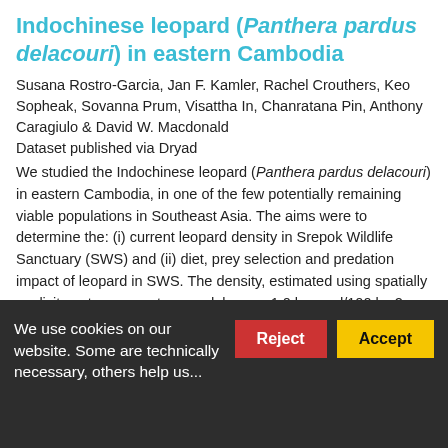Indochinese leopard (Panthera pardus delacouri) in eastern Cambodia
Susana Rostro-Garcia, Jan F. Kamler, Rachel Crouthers, Keo Sopheak, Sovanna Prum, Visattha In, Chanratana Pin, Anthony Caragiulo & David W. Macdonald
Dataset published via Dryad
We studied the Indochinese leopard (Panthera pardus delacouri) in eastern Cambodia, in one of the few potentially remaining viable populations in Southeast Asia. The aims were to determine the: (i) current leopard density in Srepok Wildlife Sanctuary (SWS) and (ii) diet, prey selection and predation impact of leopard in SWS. The density, estimated using spatially explicit capture–recapture models, was 1.0 leopard/100 km2, 72% lower than an estimate from 2009 at the same site, and one...
We use cookies on our website. Some are technically necessary, others help us...